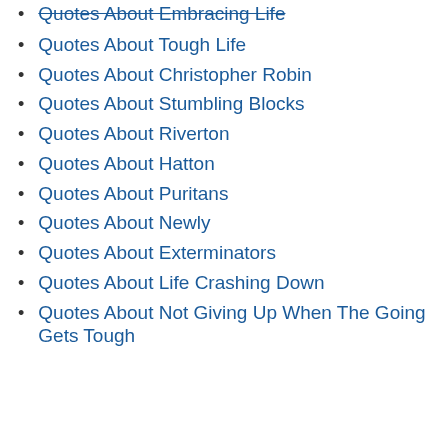Quotes About Embracing Life
Quotes About Tough Life
Quotes About Christopher Robin
Quotes About Stumbling Blocks
Quotes About Riverton
Quotes About Hatton
Quotes About Puritans
Quotes About Newly
Quotes About Exterminators
Quotes About Life Crashing Down
Quotes About Not Giving Up When The Going Gets Tough